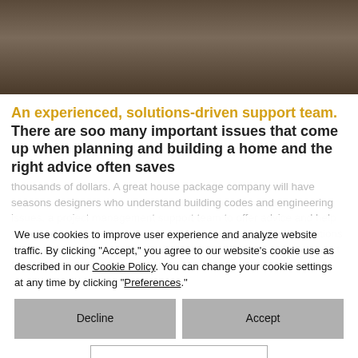[Figure (photo): Two people handling wooden boards or planks, one in a plaid shirt.]
An experienced, solutions-driven support team. There are soo many important issues that come up when planning and building a home and the right advice often saves thousands of dollars. A great house package company will have seasons designers who understand building codes and engineering issues, a project management support team to offer advice and help with overall budgets, and they should be able to offer the best options for the right mix of materials and installation. Having the right support focused on your objectives is critical to your success.
We use cookies to improve user experience and analyze website traffic. By clicking “Accept,” you agree to our website’s cookie use as described in our Cookie Policy. You can change your cookie settings at any time by clicking “Preferences.”